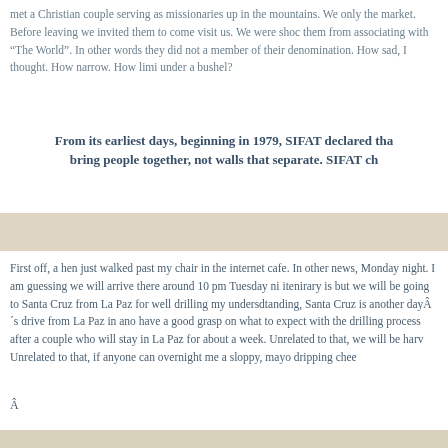met a Christian couple serving as missionaries up in the mountains. We only...the market. Before leaving we invited them to come visit us. We were shoc...them from associating with “The World”. In other words they did not a...member of their denomination. How sad, I thought. How narrow. How limi...under a bushel?
From its earliest days, beginning in 1979, SIFAT declared tha...bring people together, not walls that separate. SIFAT ch...
First off, a hen just walked past my chair in the internet cafe. In other news,...Monday night. I am guessing we will arrive there around 10 pm Tuesday ni...itenirary is but we will be going to Santa Cruz from La Paz for well drilling...my undersdtanding, Santa Cruz is another dayÂ´s drive from La Paz in ano...have a good grasp on what to expect with the drilling process after a couple...who will stay in La Paz for about a week. Unrelated to that, we will be harv...Unrelated to that, if anyone can overnight me a sloppy, mayo dripping chee...
Â